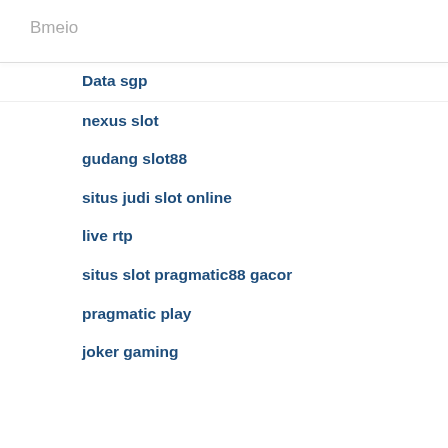Bmeio
Data sgp
nexus slot
gudang slot88
situs judi slot online
live rtp
situs slot pragmatic88 gacor
pragmatic play
joker gaming